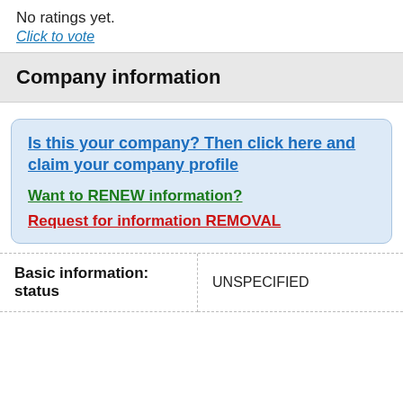No ratings yet.
Click to vote
Company information
Is this your company? Then click here and claim your company profile
Want to RENEW information?
Request for information REMOVAL
| Basic information: status |  |
| --- | --- |
| Basic information: status | UNSPECIFIED |